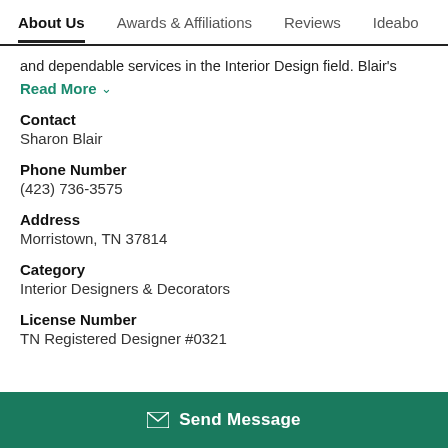About Us | Awards & Affiliations | Reviews | Ideabo
and dependable services in the Interior Design field. Blair's
Read More ∨
Contact
Sharon Blair
Phone Number
(423) 736-3575
Address
Morristown, TN 37814
Category
Interior Designers & Decorators
License Number
TN Registered Designer #0321
Send Message